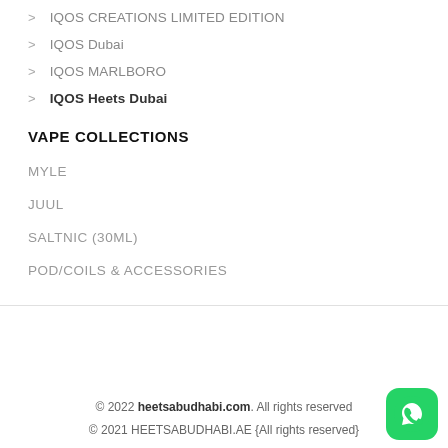IQOS CREATIONS LIMITED EDITION
IQOS Dubai
IQOS MARLBORO
IQOS Heets Dubai
VAPE COLLECTIONS
MYLE
JUUL
SALTNIC (30ML)
POD/COILS & ACCESSORIES
© 2022 heetsabudhabi.com. All rights reserved
© 2021 HEETSABUDHABI.AE {All rights reserved}